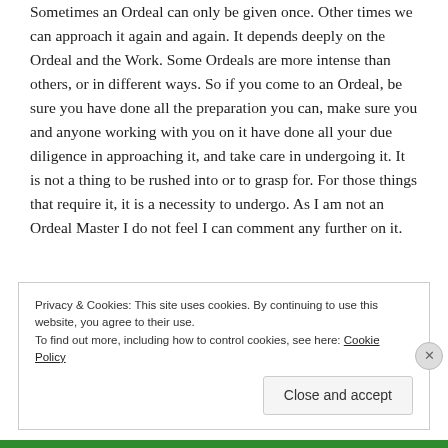Sometimes an Ordeal can only be given once. Other times we can approach it again and again. It depends deeply on the Ordeal and the Work. Some Ordeals are more intense than others, or in different ways. So if you come to an Ordeal, be sure you have done all the preparation you can, make sure you and anyone working with you on it have done all your due diligence in approaching it, and take care in undergoing it. It is not a thing to be rushed into or to grasp for. For those things that require it, it is a necessity to undergo. As I am not an Ordeal Master I do not feel I can comment any further on it.
Privacy & Cookies: This site uses cookies. By continuing to use this website, you agree to their use.
To find out more, including how to control cookies, see here: Cookie Policy
Close and accept